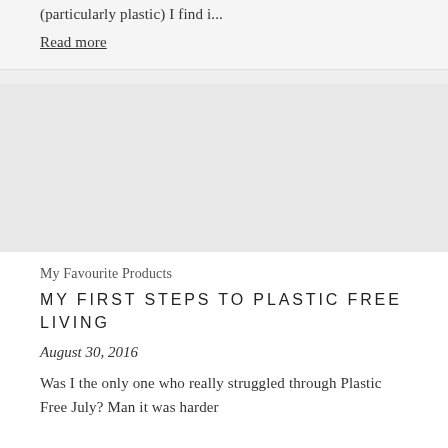(particularly plastic) I find i...
Read more
[Figure (photo): Large light gray placeholder image area for a blog post]
My Favourite Products
MY FIRST STEPS TO PLASTIC FREE LIVING
August 30, 2016
Was I the only one who really struggled through Plastic Free July? Man it was harder